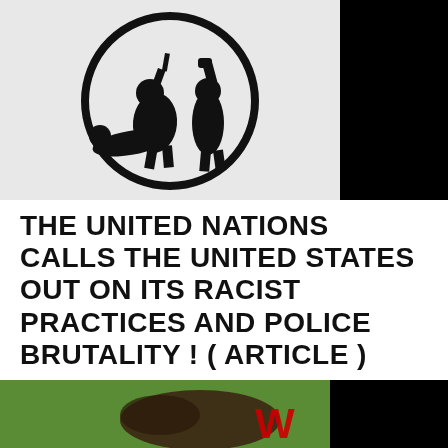[Figure (illustration): Black and white illustration inside a circle showing silhouettes of figures in a confrontational scene suggesting police brutality, against a light gray background. Right portion is solid black.]
THE UNITED NATIONS CALLS THE UNITED STATES OUT ON ITS RACIST PRACTICES AND POLICE BRUTALITY ! ( ARTICLE )
POSTED ON SEPTEMBER 27, 2015
[Figure (photo): Partial view of a news or web page image at the bottom, showing a green and brown scene with a red letter W visible, partially obscured by a black rectangle on the right.]